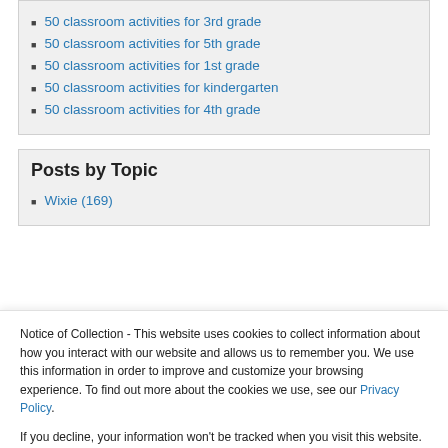50 classroom activities for 3rd grade
50 classroom activities for 5th grade
50 classroom activities for 1st grade
50 classroom activities for kindergarten
50 classroom activities for 4th grade
Posts by Topic
Wixie (169)
Notice of Collection - This website uses cookies to collect information about how you interact with our website and allows us to remember you. We use this information in order to improve and customize your browsing experience. To find out more about the cookies we use, see our Privacy Policy.
If you decline, your information won't be tracked when you visit this website.